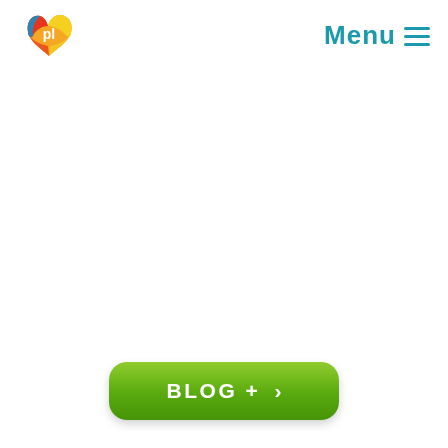pl logo | Menu
[Figure (logo): Playosfera pl logo — colorful heart shape with red, orange, yellow and blue colors, white 'pl' text in center]
Menu ≡
BLOG + >